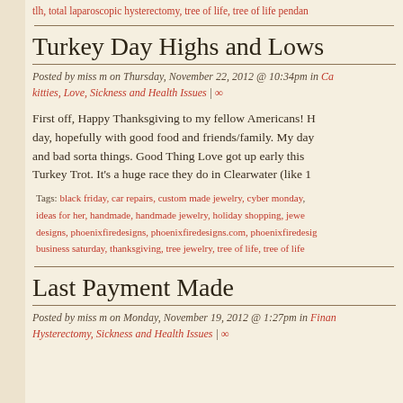tlh, total laparoscopic hysterectomy, tree of life, tree of life pendan
Turkey Day Highs and Lows
Posted by miss m on Thursday, November 22, 2012 @ 10:34pm in Ca kitties, Love, Sickness and Health Issues | ∞
First off, Happy Thanksgiving to my fellow Americans! Ho day, hopefully with good food and friends/family. My day and bad sorta things. Good Thing Love got up early this Turkey Trot. It's a huge race they do in Clearwater (like 1
Tags: black friday, car repairs, custom made jewelry, cyber monday ideas for her, handmade, handmade jewelry, holiday shopping, jewe designs, phoenixfiredesigns, phoenixfiredesigns.com, phoenixfiredesig business saturday, thanksgiving, tree jewelry, tree of life, tree of life
Last Payment Made
Posted by miss m on Monday, November 19, 2012 @ 1:27pm in Finan Hysterectomy, Sickness and Health Issues | ∞